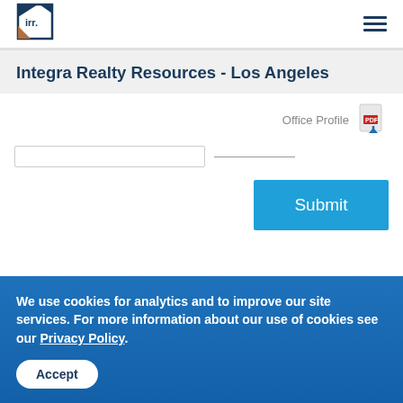irr. [logo] [hamburger menu]
Integra Realty Resources - Los Angeles
Office Profile [PDF icon]
[Figure (screenshot): A text input box with a horizontal underline separator and a blue Submit button]
We use cookies for analytics and to improve our site services. For more information about our use of cookies see our Privacy Policy.
Accept